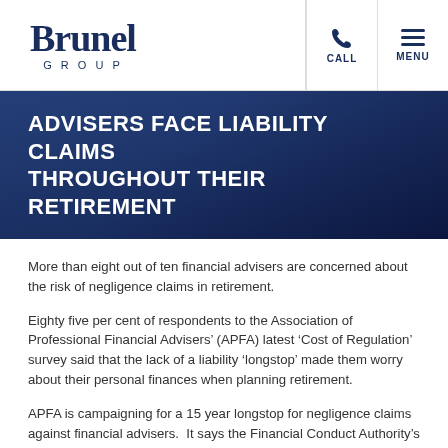Brunel GROUP — CALL | MENU
ADVISERS FACE LIABILITY CLAIMS THROUGHOUT THEIR RETIREMENT
More than eight out of ten financial advisers are concerned about the risk of negligence claims in retirement.
Eighty five per cent of respondents to the Association of Professional Financial Advisers’ (APFA) latest ‘Cost of Regulation’ survey said that the lack of a liability ‘longstop’ made them worry about their personal finances when planning retirement.
APFA is campaigning for a 15 year longstop for negligence claims against financial advisers.  It says the Financial Conduct Authority’s (FCA) recent Financial Advice Market Review (FAMR) failed to